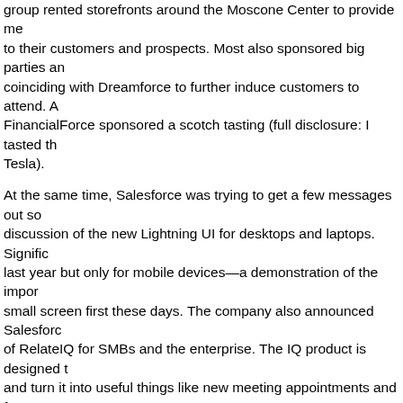group rented storefronts around the Moscone Center to provide me to their customers and prospects. Most also sponsored big parties an coinciding with Dreamforce to further induce customers to attend. A FinancialForce sponsored a scotch tasting (full disclosure: I tasted th Tesla).
At the same time, Salesforce was trying to get a few messages out so discussion of the new Lightning UI for desktops and laptops. Signific last year but only for mobile devices—a demonstration of the impor small screen first these days. The company also announced Salesforc of RelateIQ for SMBs and the enterprise. The IQ product is designed t and turn it into useful things like new meeting appointments and fo requiring the rep to manually enter the data.
To go with Lightning, Salesforce introduced an IoT cloud powered b initiative to corral the billions of devices that will need cloud connec also specific keynotes for every cloud in the company's kit and those too numerous for this piece. Fortunately they are all preserved on Yo
But the biggest bang comes whenever Salesforce assembles a gang about the future. They don't do it every year and perhaps that's wise type they like to discuss follows more of a punctuated course, like ar